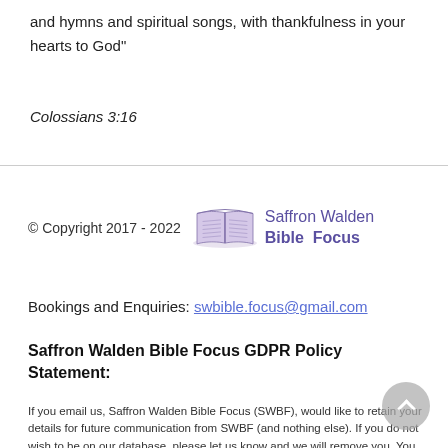and hymns and spiritual songs, with thankfulness in your hearts to God"
Colossians 3:16
© Copyright 2017 - 2022
[Figure (logo): Saffron Walden Bible Focus logo with open book icon and text]
Bookings and Enquiries: swbible.focus@gmail.com
Saffron Walden Bible Focus GDPR Policy Statement:
If you email us, Saffron Walden Bible Focus (SWBF), would like to retain your details for future communication from SWBF (and nothing else). If you do not wish to be on our database, please let us know and we will remove you. You are free to change your mind at any time by asking us to delete your details. We will not pass your details on to